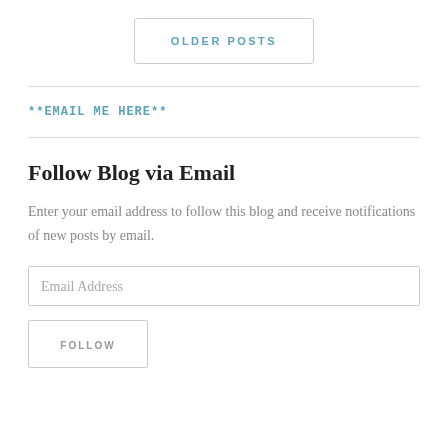OLDER POSTS
**EMAIL ME HERE**
Follow Blog via Email
Enter your email address to follow this blog and receive notifications of new posts by email.
Email Address
FOLLOW